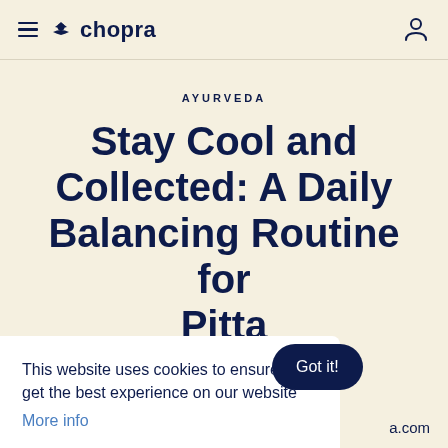chopra
AYURVEDA
Stay Cool and Collected: A Daily Balancing Routine for Pitta
This website uses cookies to ensure you get the best experience on our website
More info
Got it!
ra.com